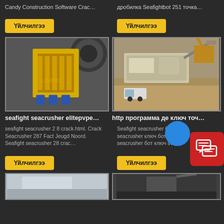Candy Construction Software Crac…
дробилка Seafightbot 251 точка…
[Figure (other): Yellow button labeled Үйлчилгээ (left)]
[Figure (other): Yellow button labeled Үйлчилгээ (right)]
[Figure (photo): Yellow jaw crusher machine in industrial setting]
[Figure (photo): Mobile crushing plant on construction site]
seafight seacrusher elitepvpe…
http программа де ключ точ…
seafight seacrusher 2 8 crack.html. Crack Seacrusher 287 Fact Jeugd Noord. Seafight seacrusher 28 crac…
Seafight seacrusher бот se seacrusher ключ бот seafight seacrusher бот ключ svtp
[Figure (other): Yellow button labeled Үйлчилгээ (left)]
[Figure (other): Yellow button labeled Үйлчилгээ (right)]
[Figure (photo): Partial image bottom left - machinery]
[Figure (photo): Partial image bottom right - machinery]